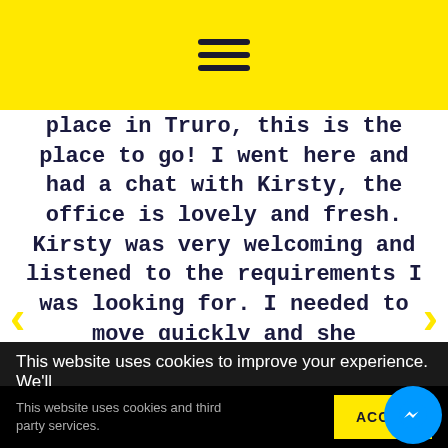[Figure (screenshot): Yellow header bar with hamburger menu icon (three horizontal lines)]
place in Truro, this is the place to go! I went here and had a chat with Kirsty, the office is lovely and fresh. Kirsty was very welcoming and listened to the requirements I was looking for. I needed to move quickly and she accommodated and made sure my mind was put at ease. When I moved in, I had a brilliant welcome pack
This website uses cookies to improve your experience. We'll
This website uses cookies and third party services.
ACCEPT